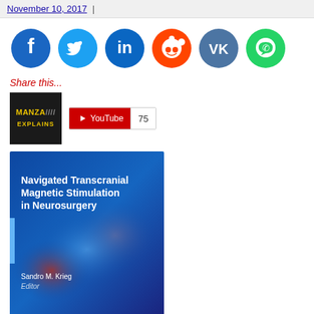November 10, 2017
[Figure (infographic): Row of social media sharing icons: Facebook (dark blue), Twitter (light blue), LinkedIn (blue), Reddit (red), VK (steel blue), WhatsApp (green), Email (olive green)]
Share this...
[Figure (logo): MANZA EXPLAINS logo in black box with yellow/green text]
[Figure (other): YouTube subscribe button showing count 75]
[Figure (photo): Book cover: Navigated Transcranial Magnetic Stimulation in Neurosurgery, Editor: Sandro M. Krieg. Dark blue cover with blurred brain imagery.]